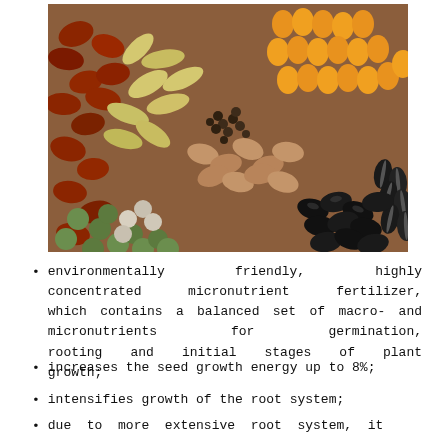[Figure (photo): Photograph showing a variety of seeds and grains including kidney beans, peas, corn, pumpkin seeds, black beans, sunflower seeds, and various other legumes and grains arranged together.]
environmentally friendly, highly concentrated micronutrient fertilizer, which contains a balanced set of macro- and micronutrients for germination, rooting and initial stages of plant growth;
increases the seed growth energy up to 8%;
intensifies growth of the root system;
due to more extensive root system, it